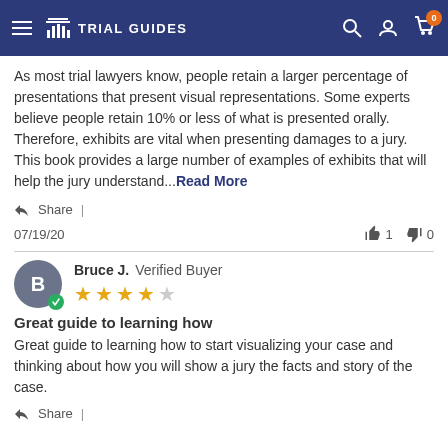Trial Guides
As most trial lawyers know, people retain a larger percentage of presentations that present visual representations. Some experts believe people retain 10% or less of what is presented orally. Therefore, exhibits are vital when presenting damages to a jury. This book provides a large number of examples of exhibits that will help the jury understand...Read More
Share |
07/19/20   👍 1   👎 0
Bruce J. Verified Buyer — 4 stars — Great guide to learning how
Great guide to learning how to start visualizing your case and thinking about how you will show a jury the facts and story of the case.
Share |